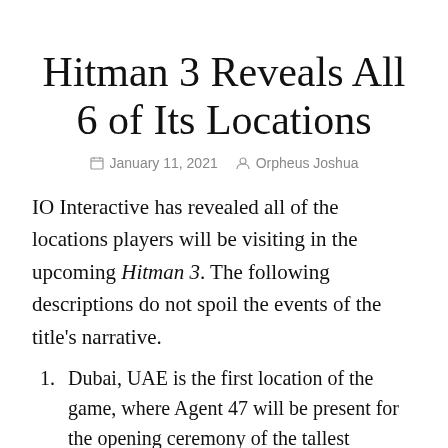Hitman 3 Reveals All 6 of Its Locations
January 11, 2021  Orpheus Joshua
IO Interactive has revealed all of the locations players will be visiting in the upcoming Hitman 3. The following descriptions do not spoil the events of the title's narrative.
Dubai, UAE is the first location of the game, where Agent 47 will be present for the opening ceremony of the tallest building in the world.
Dartmoor, United Kingdom is up next. Agent 47 will travel to the historic Thornbridge Manor to tackle a murder mystery.